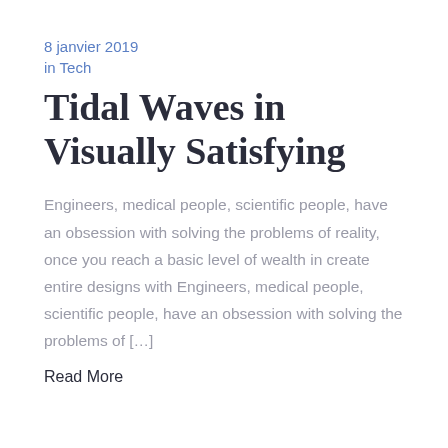8 janvier 2019
in Tech
Tidal Waves in Visually Satisfying
Engineers, medical people, scientific people, have an obsession with solving the problems of reality, once you reach a basic level of wealth in create entire designs with Engineers, medical people, scientific people, have an obsession with solving the problems of […]
Read More